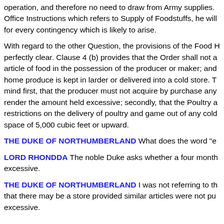operation, and therefore no need to draw from Army supplies. Office Instructions which refers to Supply of Foodstuffs, he will for every contingency which is likely to arise.
With regard to the other Question, the provisions of the Food H perfectly clear. Clause 4 (b) provides that the Order shall not a article of food in the possession of the producer or maker; and home produce is kept in larder or delivered into a cold store. T mind first, that the producer must not acquire by purchase any render the amount held excessive; secondly, that the Poultry a restrictions on the delivery of poultry and game out of any cold space of 5,000 cubic feet or upward.
THE DUKE OF NORTHUMBERLAND What does the word "e
LORD RHONDDA The noble Duke asks whether a four month excessive.
THE DUKE OF NORTHUMBERLAND I was not referring to th that there may be a store provided similar articles were not pu excessive.